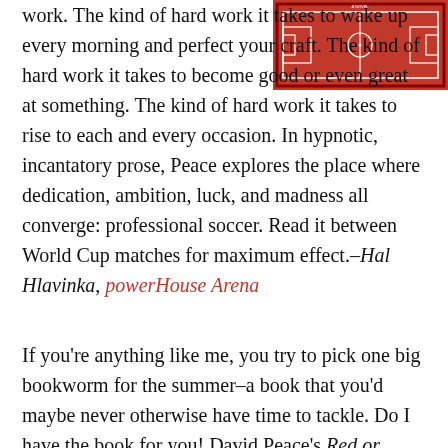[Figure (illustration): Book cover of a novel with a red background showing a soccer/football field diagram in white lines]
work. The kind of hard work it takes to wake up every morning and perfect your craft. The kind of hard work it takes to become good or even great at something. The kind of hard work it takes to rise to each and every occasion. In hypnotic, incantatory prose, Peace explores the place where dedication, ambition, luck, and madness all converge: professional soccer. Read it between World Cup matches for maximum effect.–Hal Hlavinka, powerHouse Arena
If you're anything like me, you try to pick one big bookworm for the summer–a book that you'd maybe never otherwise have time to tackle. Do I have the book for you! David Peace's Red or Dead is a mesmerizing masterpiece of writing. It also happens to be about British